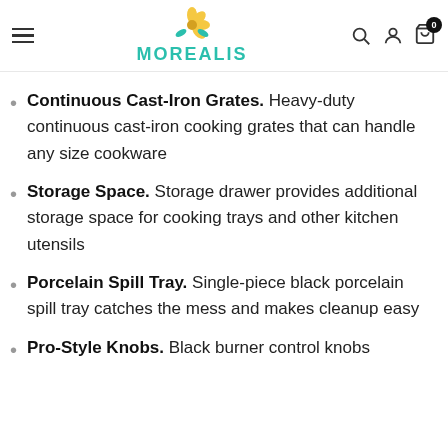MOREALIS
Continuous Cast-Iron Grates. Heavy-duty continuous cast-iron cooking grates that can handle any size cookware
Storage Space. Storage drawer provides additional storage space for cooking trays and other kitchen utensils
Porcelain Spill Tray. Single-piece black porcelain spill tray catches the mess and makes cleanup easy
Pro-Style Knobs. Black burner control knobs